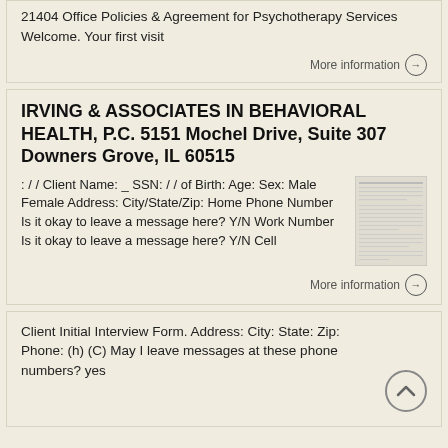21404 Office Policies & Agreement for Psychotherapy Services Welcome. Your first visit
More information →
IRVING & ASSOCIATES IN BEHAVIORAL HEALTH, P.C. 5151 Mochel Drive, Suite 307 Downers Grove, IL 60515
: / / Client Name: _ SSN: / / of Birth: Age: Sex: Male Female Address: City/State/Zip: Home Phone Number Is it okay to leave a message here? Y/N Work Number Is it okay to leave a message here? Y/N Cell
[Figure (photo): Thumbnail image of a document page showing form fields]
More information →
Client Initial Interview Form. Address: City: State: Zip: Phone: (h) (C) May I leave messages at these phone numbers? yes